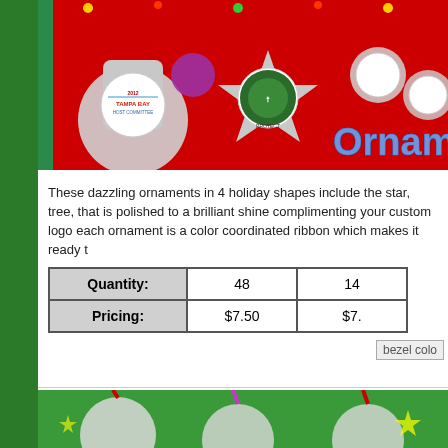[Figure (photo): Product hero image showing metallic holiday ornaments in star and tree shapes with custom logos, including Tampa Bay Host Committee and another organization logo, on a red background with decorative lights. The word 'Ornament' appears in blue chrome text on the right.]
These dazzling ornaments in 4 holiday shapes include the star, tree, that is polished to a brilliant shine complimenting your custom logo each ornament is a color coordinated ribbon which makes it ready t
| Quantity: | 48 | 14... |
| --- | --- | --- |
| Pricing: | $7.50 | $7... |
[Figure (photo): Bezel color options image placeholder]
[Figure (photo): Bottom partial image of ornaments on green background with colorful ribbons]